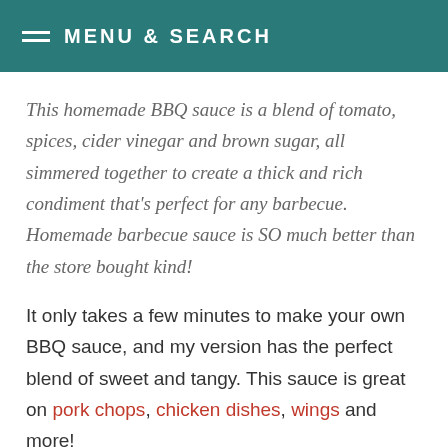MENU & SEARCH
This homemade BBQ sauce is a blend of tomato, spices, cider vinegar and brown sugar, all simmered together to create a thick and rich condiment that's perfect for any barbecue. Homemade barbecue sauce is SO much better than the store bought kind!
It only takes a few minutes to make your own BBQ sauce, and my version has the perfect blend of sweet and tangy. This sauce is great on pork chops, chicken dishes, wings and more!
[Figure (photo): Partial view of a light beige/cream background image at the bottom of the page]